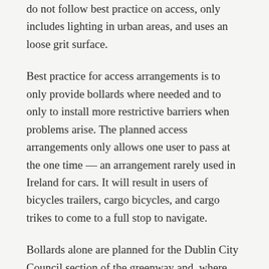do not follow best practice on access, only includes lighting in urban areas, and uses an loose grit surface.
Best practice for access arrangements is to only provide bollards where needed and to only to install more restrictive barriers when problems arise. The planned access arrangements only allows one user to pass at the one time — an arrangement rarely used in Ireland for cars. It will result in users of bicycles trailers, cargo bicycles, and cargo trikes to come to a full stop to navigate.
Bollards alone are planned for the Dublin City Council section of the greenway and, where there is a need to stop cars from entering cycleways, bollards are best